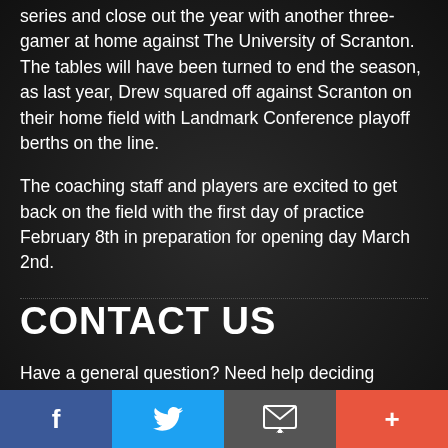series and close out the year with another three-gamer at home against The University of Scranton. The tables will have been turned to end the season, as last year, Drew squared off against Scranton on their home field with Landmark Conference playoff berths on the line.
The coaching staff and players are excited to get back on the field with the first day of practice February 8th in preparation for opening day March 2nd.
CONTACT US
Have a general question? Need help deciding what's the best option for you or your child? Fill out the form below and a Zoned representative will contact you as soon as possible.
f | Twitter bird | Email | +